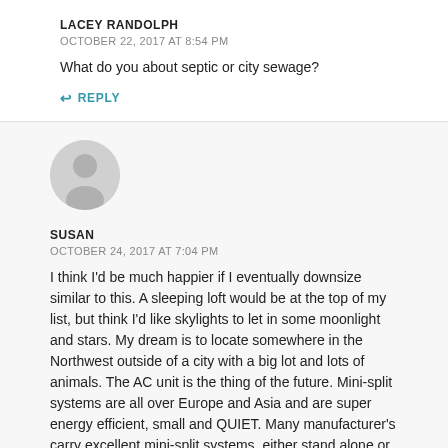LACEY RANDOLPH
OCTOBER 22, 2017 AT 8:54 PM
What do you about septic or city sewage?
↩ REPLY
[Figure (illustration): Generic user avatar circle with person silhouette icon in gray]
SUSAN
OCTOBER 24, 2017 AT 7:04 PM
I think I'd be much happier if I eventually downsize similar to this. A sleeping loft would be at the top of my list, but think I'd like skylights to let in some moonlight and stars. My dream is to locate somewhere in the Northwest outside of a city with a big lot and lots of animals. The AC unit is the thing of the future. Mini-split systems are all over Europe and Asia and are super energy efficient, small and QUIET. Many manufacturer's carry excellent mini-split systems, either stand alone or ducted. Try searching